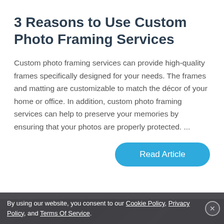3 Reasons to Use Custom Photo Framing Services
Custom photo framing services can provide high-quality frames specifically designed for your needs. The frames and matting are customizable to match the décor of your home or office. In addition, custom photo framing services can help to preserve your memories by ensuring that your photos are properly protected. ...
[Figure (photo): Partial photo strip visible at bottom of card area showing dark photographic image]
By using our website, you consent to our Cookie Policy, Privacy Policy, and Terms Of Service.